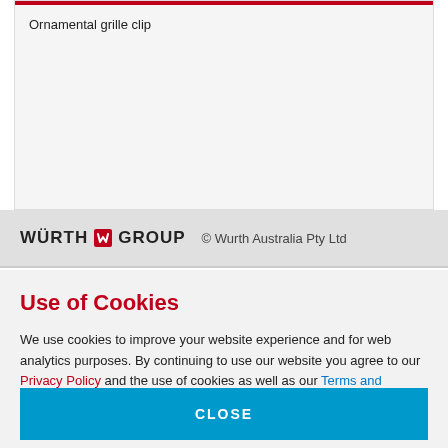Ornamental grille clip
WURTH GROUP © Wurth Australia Pty Ltd
Use of Cookies
We use cookies to improve your website experience and for web analytics purposes. By continuing to use our website you agree to our Privacy Policy and the use of cookies as well as our Terms and Conditions and Terms and Conditions - Web & App.
CLOSE